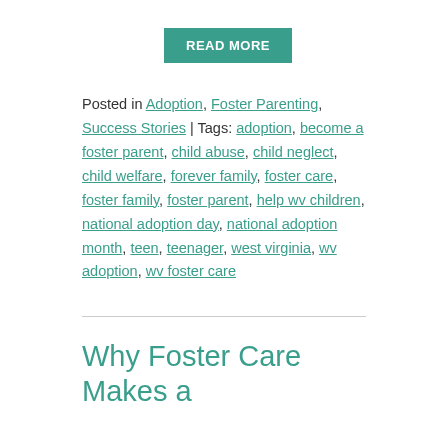READ MORE
Posted in Adoption, Foster Parenting, Success Stories | Tags: adoption, become a foster parent, child abuse, child neglect, child welfare, forever family, foster care, foster family, foster parent, help wv children, national adoption day, national adoption month, teen, teenager, west virginia, wv adoption, wv foster care
Why Foster Care Makes a